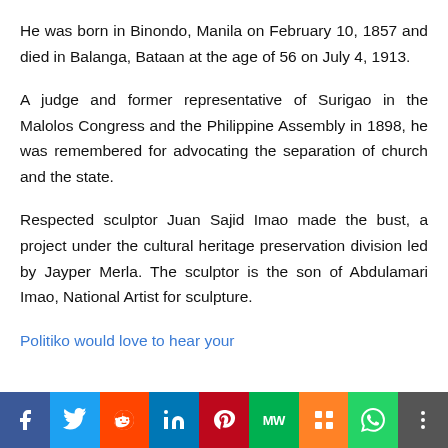He was born in Binondo, Manila on February 10, 1857 and died in Balanga, Bataan at the age of 56 on July 4, 1913.
A judge and former representative of Surigao in the Malolos Congress and the Philippine Assembly in 1898, he was remembered for advocating the separation of church and the state.
Respected sculptor Juan Sajid Imao made the bust, a project under the cultural heritage preservation division led by Jayper Merla. The sculptor is the son of Abdulamari Imao, National Artist for sculpture.
Politiko would love to hear your
[Figure (infographic): Social media sharing bar with buttons for Facebook, Twitter, Reddit, LinkedIn, Pinterest, MW, Mix, WhatsApp, and More]